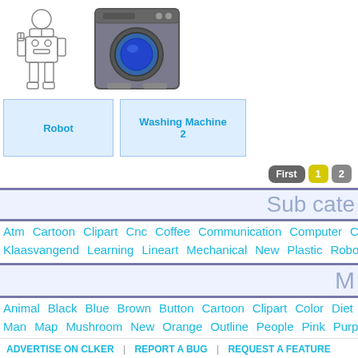[Figure (illustration): Line drawing of a cartoon robot figure raising one hand]
[Figure (illustration): Illustration of a front-loading washing machine with blue porthole]
Robot
Washing Machine 2
First 1 2
Sub cate
Atm Cartoon Clipart Cnc Coffee Communication Computer Cu Klaasvangend Learning Lineart Mechanical New Plastic Robot
M
Animal Black Blue Brown Button Cartoon Clipart Color Diet Man Map Mushroom New Orange Outline People Pink Purp
ADVERTISE ON CLKER | REPORT A BUG | REQUEST A FEATURE